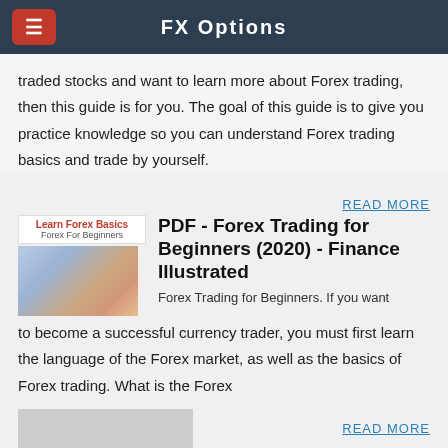FX Options
traded stocks and want to learn more about Forex trading, then this guide is for you. The goal of this guide is to give you practice knowledge so you can understand Forex trading basics and trade by yourself.
READ MORE
[Figure (illustration): Book cover thumbnail for 'Learn Forex Basics - Forex For Beginners' with a photo of currency notes]
PDF - Forex Trading for Beginners (2020) - Finance Illustrated
Forex Trading for Beginners. If you want to become a successful currency trader, you must first learn the language of the Forex market, as well as the basics of Forex trading. What is the Forex
READ MORE